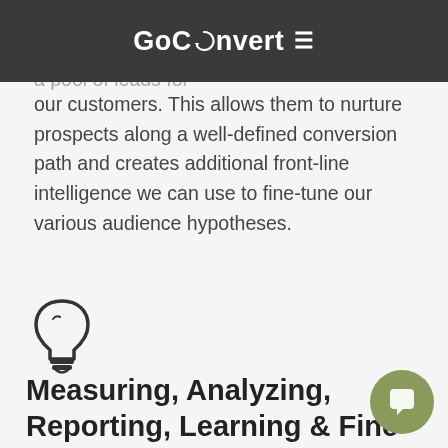GoConvert
We use audience and behavioral data to curate the first section of our campaign with a pool of leads for our customers. This allows them to nurture prospects along a well-defined conversion path and creates additional front-line intelligence we can use to fine-tune our various audience hypotheses.
[Figure (illustration): Light bulb icon in dark gray]
Measuring, Analyzing, Reporting, Learning & Fine Tuning
We use engagement data and other digital signals constantly learn from our marketing efforts and